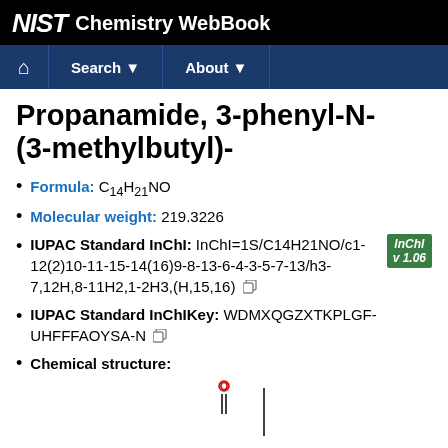NIST Chemistry WebBook
Propanamide, 3-phenyl-N-(3-methylbutyl)-
Formula: C14H21NO
Molecular weight: 219.3226
IUPAC Standard InChI: InChI=1S/C14H21NO/c1-12(2)10-11-15-14(16)9-8-13-6-4-3-5-7-13/h3-7,12H,8-11H2,1-2H3,(H,15,16)
IUPAC Standard InChIKey: WDMXQGZXTKPLGF-UHFFFAOYSA-N
Chemical structure:
[Figure (engineering-diagram): Partial chemical structure diagram showing beginning of molecular structure with a double-bonded oxygen (C=O) visible at bottom]